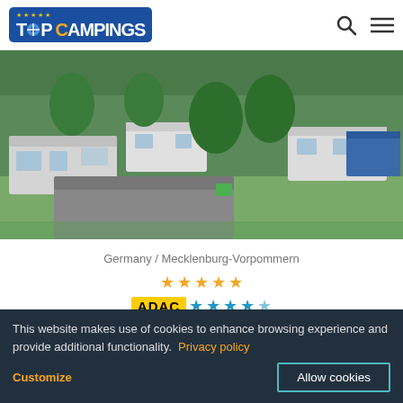TOP CAMPINGS
[Figure (photo): Aerial/landscape view of a campsite with multiple caravans and motorhomes parked among green trees]
Germany / Mecklenburg-Vorpommern
[Figure (other): 5 orange/yellow star rating icons followed by ADAC badge with 4.5 blue stars]
CAMPING BÖRGERENDE
This website makes use of cookies to enhance browsing experience and provide additional functionality. Privacy policy
Customize   Allow cookies